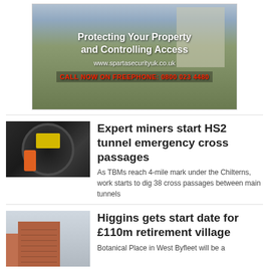[Figure (photo): Advertisement banner for Sparta Security UK showing construction site with workers. Text overlay: 'Protecting Your Property and Controlling Access', 'www.spartasecurityuk.co.uk', 'CALL NOW ON FREEPHONE: 0800 023 4480']
[Figure (photo): Photo of tunnel boring machine interior with workers in hard hats and high-vis jackets inside a circular tunnel.]
Expert miners start HS2 tunnel emergency cross passages
As TBMs reach 4-mile mark under the Chilterns, work starts to dig 38 cross passages between main tunnels
[Figure (photo): Photo of a modern red-brick apartment building exterior.]
Higgins gets start date for £110m retirement village
Botanical Place in West Byfleet will be a